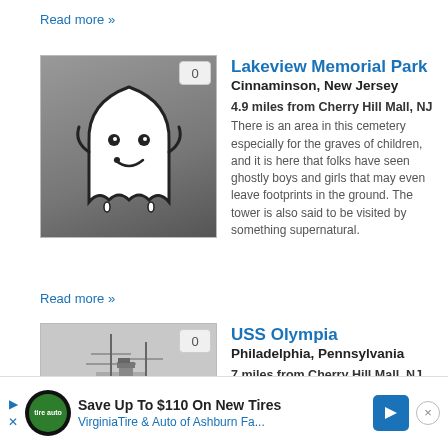Read more »
Lakeview Memorial Park
Cinnaminson, New Jersey
4.9 miles from Cherry Hill Mall, NJ
There is an area in this cemetery especially for the graves of children, and it is here that folks have seen ghostly boys and girls that may even leave footprints in the ground. The tower is also said to be visited by something supernatural.
Read more »
USS Olympia
Philadelphia, Pennsylvania
7 miles from Cherry Hill Mall, NJ
The USS Olympia was a Navy cruiser from
Save Up To $110 On New Tires
VirginiaTire & Auto of Ashburn Fa...